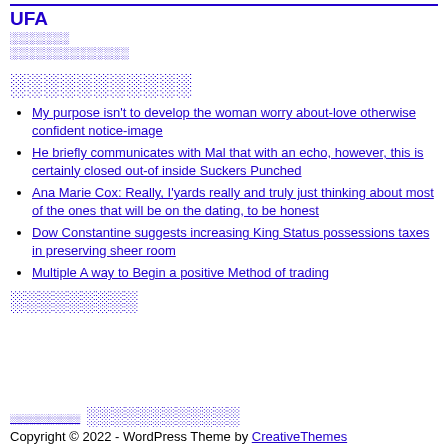UFA
░░░░░░░
░░░░░░░░░░░░░░
░░░░░░░░░░░
My purpose isn't to develop the woman worry about-love otherwise confident notice-image
He briefly communicates with Mal that with an echo, however, this is certainly closed out-of inside Suckers Punched
Ana Marie Cox: Really, I'yards really and truly just thinking about most of the ones that will be on the dating, to be honest
Dow Constantine suggests increasing King Status possessions taxes in preserving sheer room
Multiple A way to Begin a positive Method of trading
░░░░░░░░░
░░░░░░░░░░░ ░░░░░░░░░░░░
Copyright © 2022 - WordPress Theme by CreativeThemes